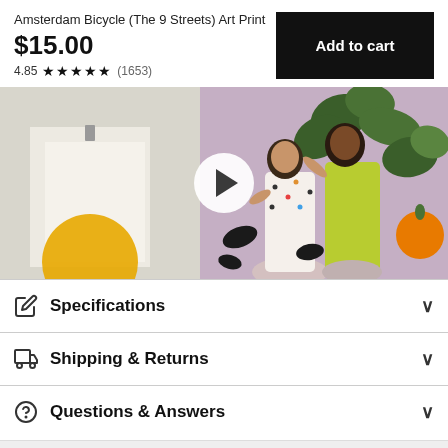Amsterdam Bicycle (The 9 Streets) Art Print
$15.00
4.85 ★★★★★ (1653)
[Figure (photo): Product video thumbnail showing illustrated art prints with two women and plants, with a white play button overlay]
Specifications
Shipping & Returns
Questions & Answers
Reviews